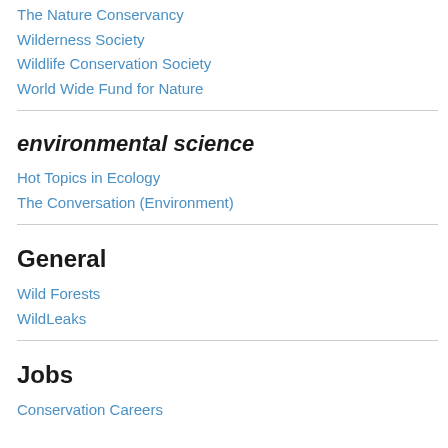The Nature Conservancy
Wilderness Society
Wildlife Conservation Society
World Wide Fund for Nature
environmental science
Hot Topics in Ecology
The Conversation (Environment)
General
Wild Forests
WildLeaks
Jobs
Conservation Careers